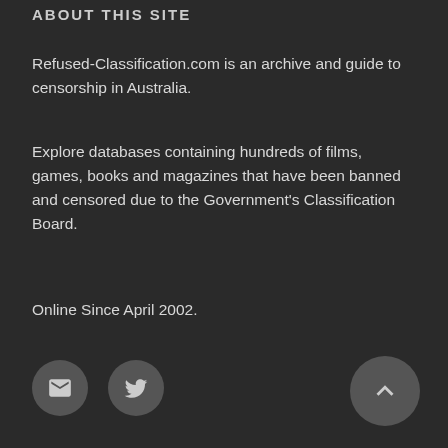ABOUT THIS SITE
Refused-Classification.com is an archive and guide to censorship in Australia.
Explore databases containing hundreds of films, games, books and magazines that have been banned and censored due to the Government's Classification Board.
Online Since April 2002.